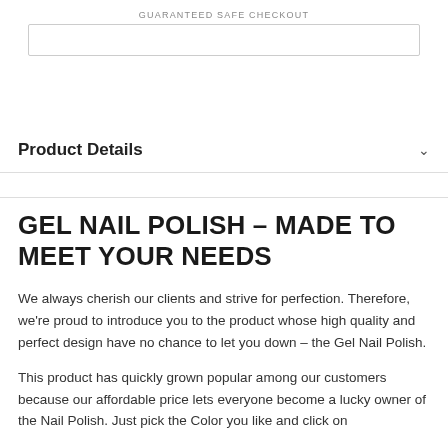GUARANTEED SAFE CHECKOUT
Product Details
GEL NAIL POLISH – MADE TO MEET YOUR NEEDS
We always cherish our clients and strive for perfection. Therefore, we're proud to introduce you to the product whose high quality and perfect design have no chance to let you down – the Gel Nail Polish.
This product has quickly grown popular among our customers because our affordable price lets everyone become a lucky owner of the Nail Polish. Just pick the Color you like and click on